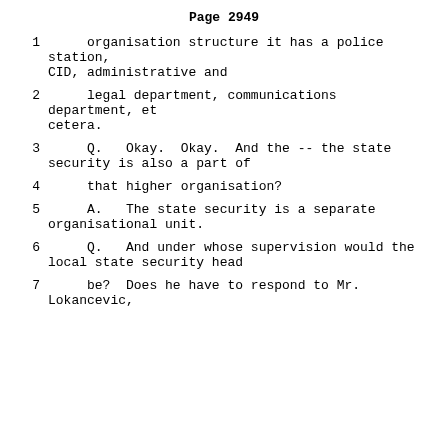Page 2949
1      organisation structure it has a police station, CID, administrative and
2      legal department, communications department, et cetera.
3      Q.   Okay.  Okay.  And the -- the state security is also a part of
4      that higher organisation?
5      A.   The state security is a separate organisational unit.
6      Q.   And under whose supervision would the local state security head
7      be?  Does he have to respond to Mr. Lokancevic,